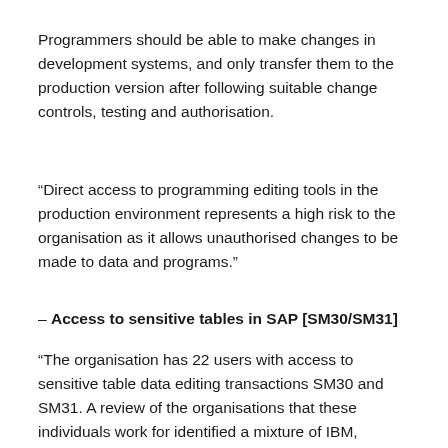Programmers should be able to make changes in development systems, and only transfer them to the production version after following suitable change controls, testing and authorisation.
“Direct access to programming editing tools in the production environment represents a high risk to the organisation as it allows unauthorised changes to be made to data and programs.”
– Access to sensitive tables in SAP [SM30/SM31]
“The organisation has 22 users with access to sensitive table data editing transactions SM30 and SM31. A review of the organisations that these individuals work for identified a mixture of IBM, Somerset County Council, Taunton Deane Borough Council, Avon & Somerset Police